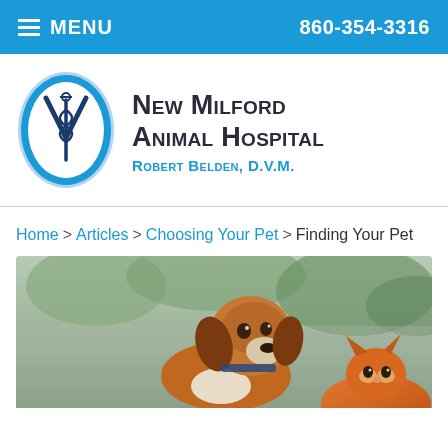MENU   860-354-3316
[Figure (logo): New Milford Animal Hospital logo with blue oval containing veterinary caduceus V symbol, beside text 'New Milford Animal Hospital, Robert Belden, D.V.M.']
Home > Articles > Choosing Your Pet > Finding Your Pet
[Figure (photo): Photo of a beagle dog looking up with a cat visible in the lower right, outdoors with blurred green background]